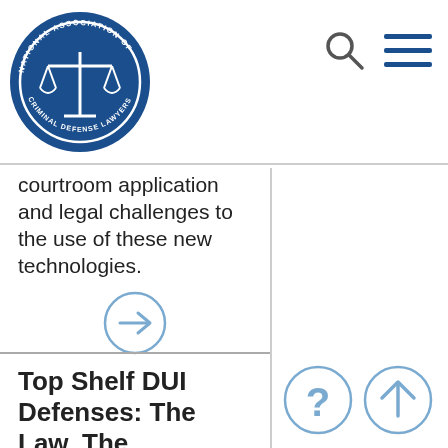[Figure (logo): National Association of Criminal Defense Lawyers circular badge logo in blue and white]
[Figure (other): Search icon (magnifying glass) and hamburger menu icon in top right navigation]
courtroom application and legal challenges to the use of these new technologies.
[Figure (other): Right arrow in a circle (navigation button)]
Top Shelf DUI Defenses: The Law, The
[Figure (other): Question mark in a circle and up arrow in a circle (help and scroll-to-top buttons)]